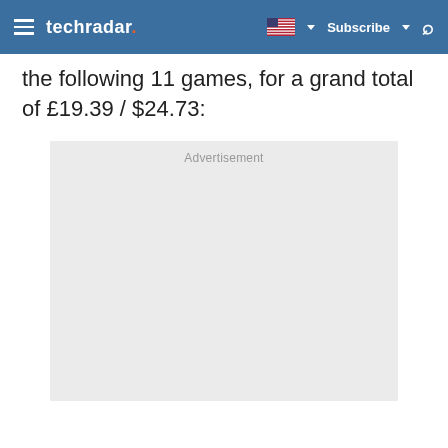techradar — Subscribe — [navigation bar]
the following 11 games, for a grand total of £19.39 / $24.73:
[Figure (other): Advertisement placeholder box with grey background and 'Advertisement' label at top center]